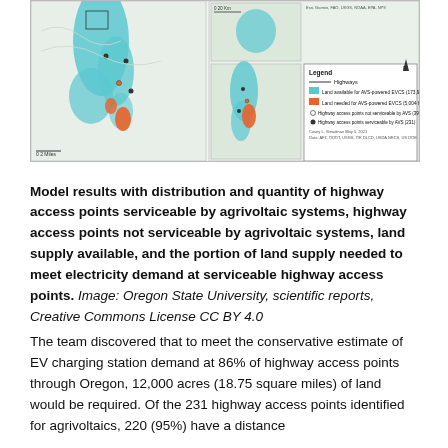[Figure (map): Two maps of Oregon showing model results: distribution of highway access points serviceable and not serviceable by agrivoltaic systems, land supply available (blue, 173,965 ha), and land supply needed (orange, 5,004 ha). Legend includes highways, land available for AVS-powered EVCS, land needed for AVS-powered EVCS, highway access points not serviceable by AVS (39), and highway access points serviceable by AVS (231). Credit: Casey L. Steadman, May 5, 2021. Data: AFT, ODOT, USGS, OR DLCD, USDA NRCS, US DOE.]
Model results with distribution and quantity of highway access points serviceable by agrivoltaic systems, highway access points not serviceable by agrivoltaic systems, land supply available, and the portion of land supply needed to meet electricity demand at serviceable highway access points. Image: Oregon State University, scientific reports, Creative Commons License CC BY 4.0
The team discovered that to meet the conservative estimate of EV charging station demand at 86% of highway access points through Oregon, 12,000 acres (18.75 square miles) of land would be required. Of the 231 highway access points identified for agrivoltaics, 220 (95%) have a distance